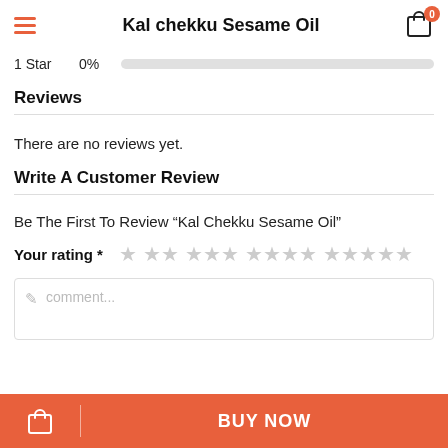Kal chekku Sesame Oil
1 Star   0%
Reviews
There are no reviews yet.
Write A Customer Review
Be The First To Review “Kal Chekku Sesame Oil”
Your rating *
comment...
BUY NOW